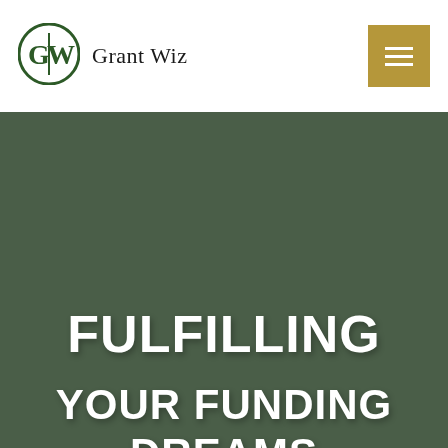[Figure (logo): Grant Wiz logo with stylized GW monogram in dark green circle and brand name 'Grant Wiz' in serif font]
FULFILLING YOUR FUNDING DREAMS